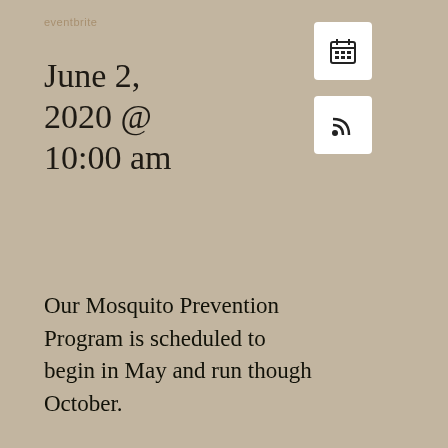June 2, 2020 @ 10:00 am
Our Mosquito Prevention Program is scheduled to begin in May and run though October.
[Figure (photo): Close-up photo of wooden fence boards or planks, showing wood grain texture in brown tones]
Apr 29, 2022 -
June 2, 2020 @